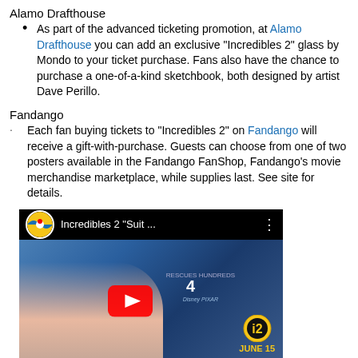Alamo Drafthouse
As part of the advanced ticketing promotion, at Alamo Drafthouse you can add an exclusive “Incredibles 2” glass by Mondo to your ticket purchase. Fans also have the chance to purchase a one-of-a-kind sketchbook, both designed by artist Dave Perillo.
Fandango
Each fan buying tickets to “Incredibles 2” on Fandango will receive a gift-with-purchase. Guests can choose from one of two posters available in the Fandango FanShop, Fandango’s movie merchandise marketplace, while supplies last. See site for details.
[Figure (screenshot): YouTube video thumbnail for Incredibles 2 'Suit ...' featuring a baby character (Jack-Jack) and a red YouTube play button, with the Incredibles 2 logo and JUNE 15 text at the bottom right, and Disney Pixar branding.]